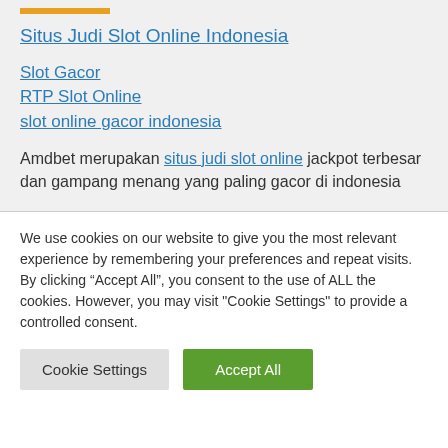Situs Judi Slot Online Indonesia
Slot Gacor
RTP Slot Online
slot online gacor indonesia
Amdbet merupakan situs judi slot online jackpot terbesar dan gampang menang yang paling gacor di indonesia
We use cookies on our website to give you the most relevant experience by remembering your preferences and repeat visits. By clicking “Accept All”, you consent to the use of ALL the cookies. However, you may visit "Cookie Settings" to provide a controlled consent.